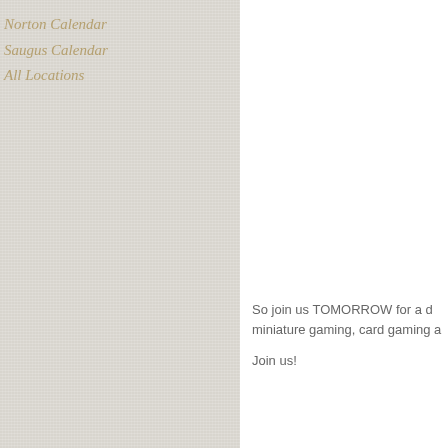Norton Calendar
Saugus Calendar
All Locations
So join us TOMORROW for a d miniature gaming, card gaming a Join us!